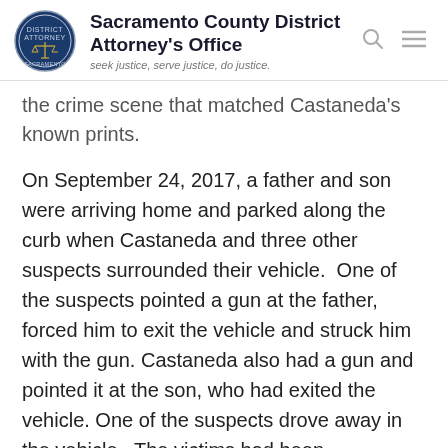Sacramento County District Attorney's Office — seek justice, serve justice, do justice.
the crime scene that matched Castaneda's known prints.
On September 24, 2017, a father and son were arriving home and parked along the curb when Castaneda and three other suspects surrounded their vehicle. One of the suspects pointed a gun at the father, forced him to exit the vehicle and struck him with the gun. Castaneda also had a gun and pointed it at the son, who had exited the vehicle. One of the suspects drove away in the vehicle. The victims had been transporting marijuana plants at the time they were robbed. The stolen vehicle was found about an hour later. A latent print taken from the vehicle matched Castaneda.